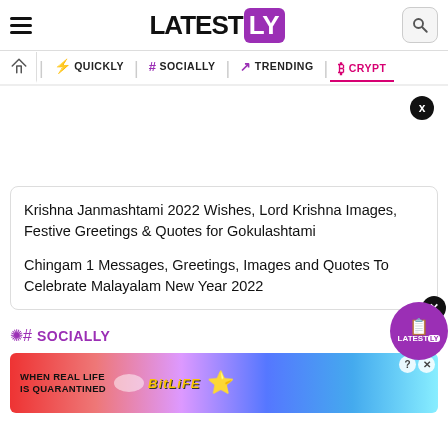LATESTLY
QUICKLY | # SOCIALLY | TRENDING | CRYPTO
Krishna Janmashtami 2022 Wishes, Lord Krishna Images, Festive Greetings & Quotes for Gokulashtami
Chingam 1 Messages, Greetings, Images and Quotes To Celebrate Malayalam New Year 2022
SOCIALLY
[Figure (screenshot): BitLife advertisement banner: 'When Real Life Is Quarantined' with BitLife logo and star emoji characters]